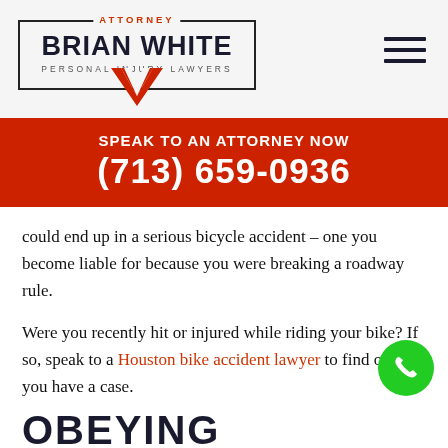[Figure (logo): Attorney Brian White Personal Injury Lawyers logo with red W emblem]
SPEAK TO AN ATTORNEY NOW
(713) 659-0936
could end up in a serious bicycle accident – one you become liable for because you were breaking a roadway rule.
Were you recently hit or injured while riding your bike? If so, speak to a Houston bike accident lawyer to find out if you have a case.
OBEYING ROADWAY RULES